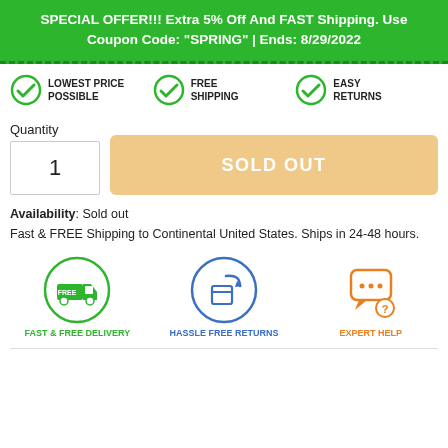SPECIAL OFFER!!! Extra 5% Off And FAST Shipping. Use Coupon Code: "SPRING" | Ends: 8/29/2022
[Figure (infographic): Three trust badges in a row: green checkmark with LOWEST PRICE POSSIBLE, green checkmark with FREE SHIPPING, green checkmark with EASY RETURNS]
Quantity: 1 | SOLD OUT
Availability: Sold out
Fast & FREE Shipping to Continental United States. Ships in 24-48 hours.
[Figure (infographic): Three circular icons: green truck (FAST & FREE DELIVERY), blue returns arrow (HASSLE FREE RETURNS), orange speech bubble with question mark (EXPERT HELP)]